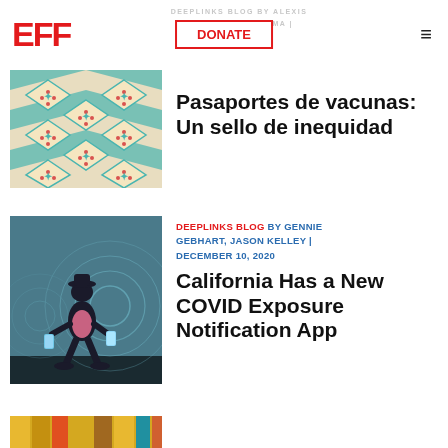EFF | DONATE | DEEPLINKS BLOG BY ALEXIS | HANNOVER | FUKAYAMA | DECEMBER 10, 2020
[Figure (illustration): Decorative geometric pattern illustration with teal diamonds and red dot patterns, partially visible at top-left as article thumbnail]
Pasaportes de vacunas: Un sello de inequidad
[Figure (illustration): Illustration of a dark silhouetted person walking while holding a glowing smartphone, with concentric circle radio waves emanating, teal background]
DEEPLINKS BLOG BY GENNIE GEBHART, JASON KELLEY | DECEMBER 10, 2020
California Has a New COVID Exposure Notification App
[Figure (illustration): Partial illustration visible at bottom of page, colorful pattern]